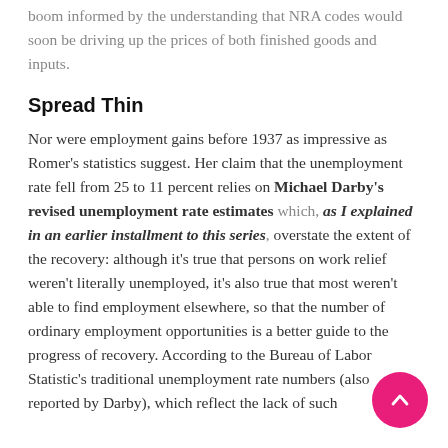boom informed by the understanding that NRA codes would soon be driving up the prices of both finished goods and inputs.
Spread Thin
Nor were employment gains before 1937 as impressive as Romer's statistics suggest. Her claim that the unemployment rate fell from 25 to 11 percent relies on Michael Darby's revised unemployment rate estimates which, as I explained in an earlier installment to this series, overstate the extent of the recovery: although it's true that persons on work relief weren't literally unemployed, it's also true that most weren't able to find employment elsewhere, so that the number of ordinary employment opportunities is a better guide to the progress of recovery. According to the Bureau of Labor Statistic's traditional unemployment rate numbers (also reported by Darby), which reflect the lack of such